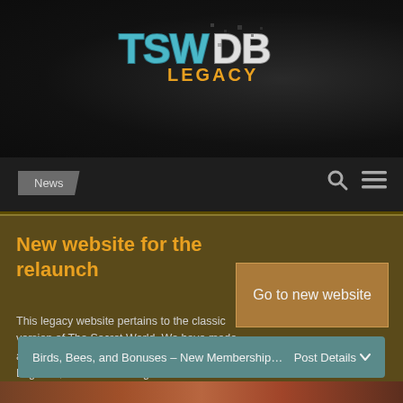[Figure (logo): TSWDB Legacy logo with teal/white grunge lettering and yellow 'LEGACY' text]
News
New website for the relaunch
This legacy website pertains to the classic version of The Secret World. We have made a brand new website for Secret World Legends, the relaunched game!
Go to new website
Birds, Bees, and Bonuses – New Membership…
Post Details ∨